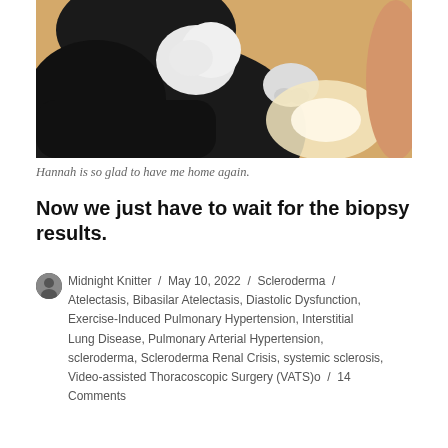[Figure (photo): Close-up photo of a black and white cat resting against a person's arm or leg, with a white paw visible and bright light in the background.]
Hannah is so glad to have me home again.
Now we just have to wait for the biopsy results.
Midnight Knitter / May 10, 2022 / Scleroderma / Atelectasis, Bibasilar Atelectasis, Diastolic Dysfunction, Exercise-Induced Pulmonary Hypertension, Interstitial Lung Disease, Pulmonary Arterial Hypertension, scleroderma, Scleroderma Renal Crisis, systemic sclerosis, Video-assisted Thoracoscopic Surgery (VATS)o / 14 Comments